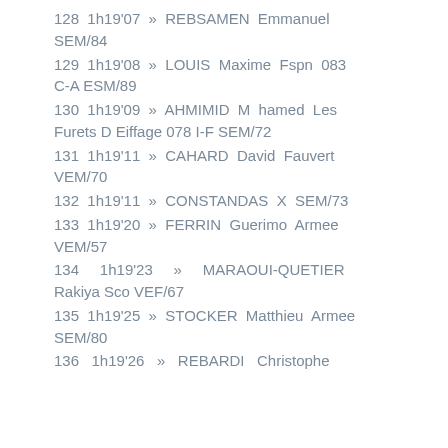128  1h19'07  »  REBSAMEN  Emmanuel SEM/84
129  1h19'08  »  LOUIS  Maxime  Fspn 083 C-A ESM/89
130  1h19'09  »  AHMIMID  M hamed  Les Furets D Eiffage 078 I-F SEM/72
131  1h19'11  »  CAHARD  David  Fauvert VEM/70
132  1h19'11  »  CONSTANDAS  X  SEM/73
133  1h19'20  »  FERRIN  Guerimo  Armee VEM/57
134    1h19'23    »    MARAOUI-QUETIER Rakiya Sco VEF/67
135  1h19'25  »  STOCKER  Matthieu  Armee SEM/80
136  1h19'26  »  REBARDI  Christophe